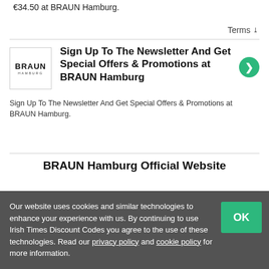€34.50 at BRAUN Hamburg.
Terms ∨
Sign Up To The Newsletter And Get Special Offers & Promotions at BRAUN Hamburg
Sign Up To The Newsletter And Get Special Offers & Promotions at BRAUN Hamburg.
BRAUN Hamburg Official Website
Our website uses cookies and similar technologies to enhance your experience with us. By continuing to use Irish Times Discount Codes you agree to the use of these technologies. Read our privacy policy and cookie policy for more information.